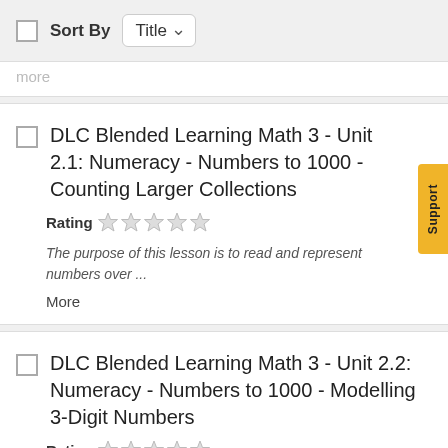Sort By Title
DLC Blended Learning Math 3 - Unit 2.1: Numeracy - Numbers to 1000 - Counting Larger Collections
Rating ☆☆☆☆☆
The purpose of this lesson is to read and represent numbers over ...
More
DLC Blended Learning Math 3 - Unit 2.2: Numeracy - Numbers to 1000 - Modelling 3-Digit Numbers
Rating ☆☆☆☆☆
The purpose of this lesson is to explore place value with 3-digit ...